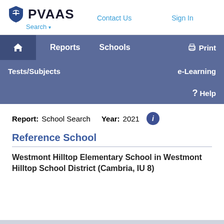PVAAS Search ▾   Contact Us   Sign In
[Figure (screenshot): PVAAS navigation bar with Reports, Schools, Print, Tests/Subjects, e-Learning, Help]
Report: School Search   Year: 2021
Reference School
Westmont Hilltop Elementary School in Westmont Hilltop School District (Cambria, IU 8)